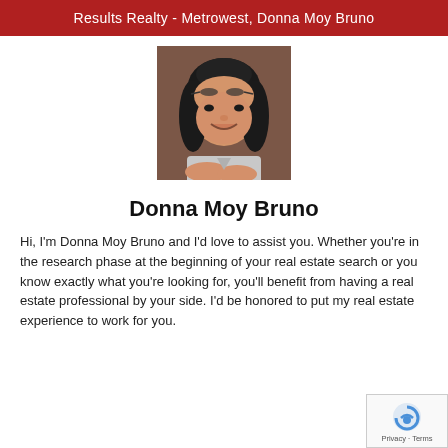Results Realty - Metrowest, Donna Moy Bruno
[Figure (photo): Portrait photo of Donna Moy Bruno, a woman with dark hair, smiling, seated with arms crossed on a table, wearing a light gray top.]
Donna Moy Bruno
Hi, I'm Donna Moy Bruno and I'd love to assist you. Whether you're in the research phase at the beginning of your real estate search or you know exactly what you're looking for, you'll benefit from having a real estate professional by your side. I'd be honored to put my real estate experience to work for you.